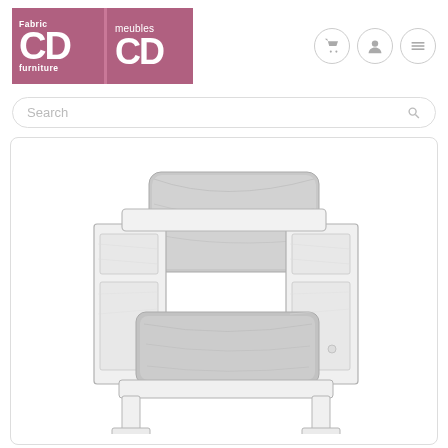[Figure (logo): Fabric CD furniture / meubles CD logo — two mauve/pink rectangular panels side by side, with large white 'CD' letters and 'Fabric'/'furniture' and 'meubles' text in white]
Search
[Figure (illustration): Technical line drawing / sketch of an armchair with grey upholstered back and seat cushions and white/distressed wooden frame structure, shown in 3/4 perspective view]